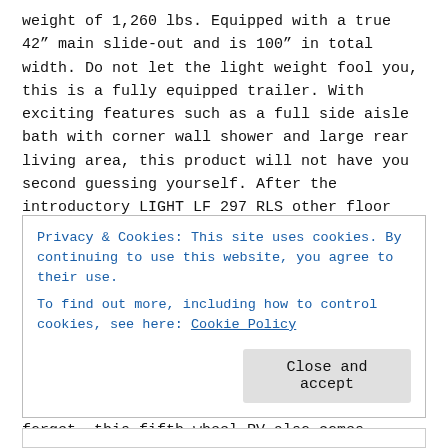weight of 1,260 lbs.  Equipped with a true 42″ main slide-out and is 100″ in total width.  Do not let the light weight fool you, this is a fully equipped trailer. With exciting features such as a full side aisle bath with corner wall shower and large rear living area, this product will not have you second guessing yourself.  After the introductory LIGHT LF 297 RLS other floor plans are scheduled to follow.
The exterior has a  high-gloss metallic automotive finish. Inside you will find a clean, rich look that feels elegant.  From the large 86″ sleeper sofa to the portable island that converts to a large dinette table.  The LIGHT is an exciting new option in light weight 5th wheels.  Oh, before I forget, this fifth wheel RV also comes washer/dryer prepped and has a bedroom wardrobe slide.
Privacy & Cookies: This site uses cookies. By continuing to use this website, you agree to their use.
To find out more, including how to control cookies, see here: Cookie Policy